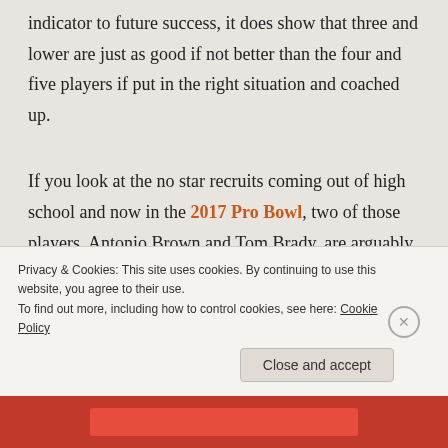indicator to future success, it does show that three and lower are just as good if not better than the four and five players if put in the right situation and coached up.
If you look at the no star recruits coming out of high school and now in the 2017 Pro Bowl, two of those players, Antonio Brown and Tom Brady, are arguably the best at their position. Brady is a lock
Privacy & Cookies: This site uses cookies. By continuing to use this website, you agree to their use.
To find out more, including how to control cookies, see here: Cookie Policy